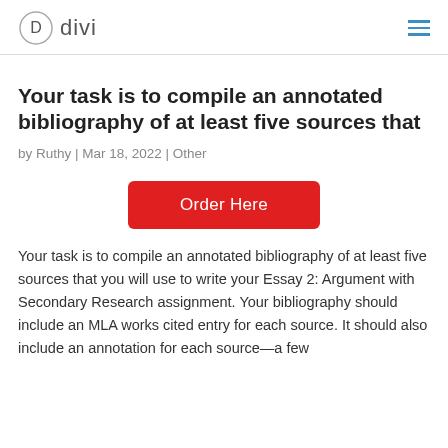divi
Your task is to compile an annotated bibliography of at least five sources that
by Ruthy | Mar 18, 2022 | Other
[Figure (other): Red Order Here button]
Your task is to compile an annotated bibliography of at least five sources that you will use to write your Essay 2: Argument with Secondary Research assignment. Your bibliography should include an MLA works cited entry for each source. It should also include an annotation for each source—a few